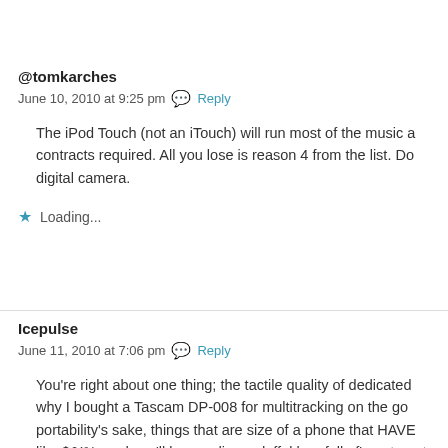@tomkarches
June 10, 2010 at 9:25 pm  Reply
The iPod Touch (not an iTouch) will run most of the music a contracts required. All you lose is reason 4 from the list. Do digital camera.
Loading...
Icepulse
June 11, 2010 at 7:06 pm  Reply
You're right about one thing; the tactile quality of dedicated why I bought a Tascam DP-008 for multitracking on the go portability's sake, things that are size of a phone that HAVE like $&!%, and you'll be needing a duffel bag full of' em to out of one device like the iPhone. It's a trade-off. IF your goa solution to creating electronic music on-the-go. If that's yo